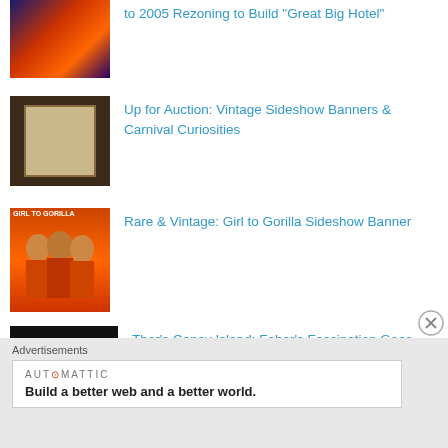Up for Auction: Vintage Sideshow Banners & Carnival Curiosities
Rare & Vintage: Girl to Gorilla Sideshow Banner
Thor's Coney Island: Faber's Fascination Goes Dark After 50 Years
Advertisements
[Figure (other): Automattic advertisement: 'Build a better web and a better world.']